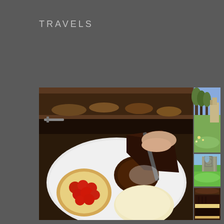TRAVELS
[Figure (photo): Collage of travel photos: large photo of pastries and desserts on a white plate being served (raspberry tart, chocolate brownie, caramel tart), with three smaller photos on the right showing a castle/abbey ruin with tall trees in sunlight, a green field with gothic abbey ruins, and a close-up of a chocolate layered cake slice.]